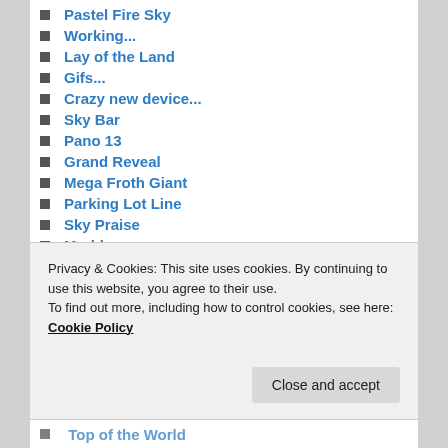Pastel Fire Sky
Working...
Lay of the Land
Gifs...
Crazy new device...
Sky Bar
Pano 13
Grand Reveal
Mega Froth Giant
Parking Lot Line
Sky Praise
Marble
Oh Those Saints
Pano 13
Privacy & Cookies: This site uses cookies. By continuing to use this website, you agree to their use. To find out more, including how to control cookies, see here: Cookie Policy
Top of the World